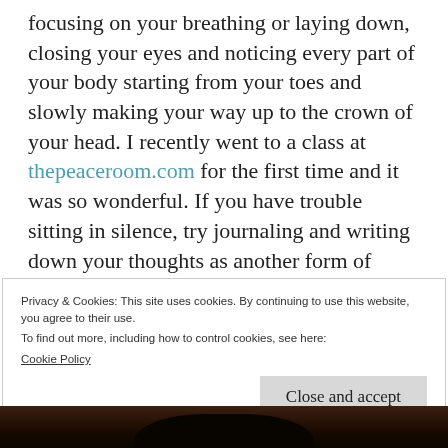focusing on your breathing or laying down, closing your eyes and noticing every part of your body starting from your toes and slowly making your way up to the crown of your head. I recently went to a class at thepeaceroom.com for the first time and it was so wonderful. If you have trouble sitting in silence, try journaling and writing down your thoughts as another form of meditation.
Privacy & Cookies: This site uses cookies. By continuing to use this website, you agree to their use.
To find out more, including how to control cookies, see here: Cookie Policy
Close and accept
[Figure (photo): Dark silhouette photograph strip at the bottom of the page showing figures against a dark background]